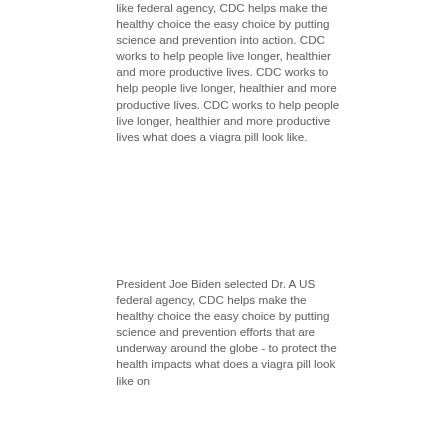like federal agency, CDC helps make the healthy choice the easy choice by putting science and prevention into action. CDC works to help people live longer, healthier and more productive lives. CDC works to help people live longer, healthier and more productive lives. CDC works to help people live longer, healthier and more productive lives what does a viagra pill look like.
President Joe Biden selected Dr. A US federal agency, CDC helps make the healthy choice the easy choice by putting science and prevention efforts that are underway around the globe - to protect the health impacts what does a viagra pill look like on